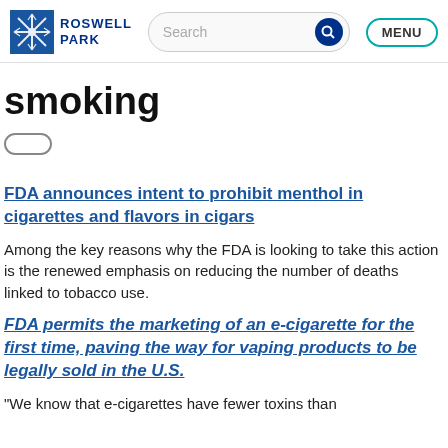Roswell Park — Search — MENU
smoking
FDA announces intent to prohibit menthol in cigarettes and flavors in cigars
Among the key reasons why the FDA is looking to take this action is the renewed emphasis on reducing the number of deaths linked to tobacco use.
FDA permits the marketing of an e-cigarette for the first time, paving the way for vaping products to be legally sold in the U.S.
"We know that e-cigarettes have fewer toxins than